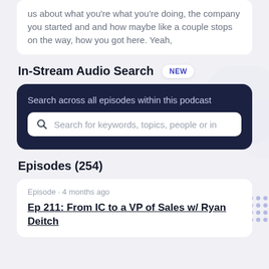us about what you're what you're doing, the company you started and and how maybe like a couple stops on the way, how you got here. Yeah,
In-Stream Audio Search NEW
[Figure (screenshot): Dark navy search widget with text 'Search across all episodes within this podcast' and a search input bar with placeholder 'Search for keywords, topics, people or in']
Episodes (254)
Episode · 4 months ago
Ep 211: From IC to a VP of Sales w/ Ryan Deitch